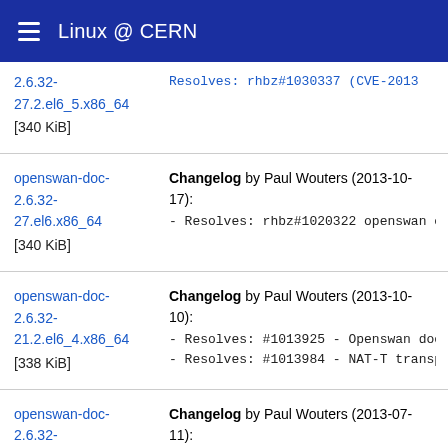Linux @ CERN
2.6.32-27.2.el6_5.x86_64 [340 KiB] | Resolves: rhbz#1030337 (CVE-2013...
openswan-doc-2.6.32-27.el6.x86_64 [340 KiB] | Changelog by Paul Wouters (2013-10-17): - Resolves: rhbz#1020322 openswan c...
openswan-doc-2.6.32-21.2.el6_4.x86_64 [338 KiB] | Changelog by Paul Wouters (2013-10-10): - Resolves: #1013925 - Openswan doe... - Resolves: #1013984 - NAT-T transp...
openswan-doc-2.6.32-21.el6_4.x86_64 [338 KiB] | Changelog by Paul Wouters (2013-07-11): Resolves: #983451 - barf and look s...